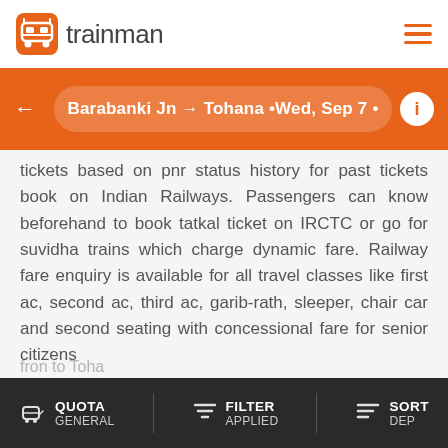[Figure (logo): Trainman app logo with orange train icon and 'trainman' text]
Barabanki Jn → Tohana • Wed, Sep 7 •
tickets based on pnr status history for past tickets book on Indian Railways. Passengers can know beforehand to book tatkal ticket on IRCTC or go for suvidha trains which charge dynamic fare. Railway fare enquiry is available for all travel classes like first ac, second ac, third ac, garib-rath, sleeper, chair car and second seating with concessional fare for senior citizens
Frequent searches leading to this page
Barabanki Jn to Tohana trains BBK to TUN trains
QUOTA GENERAL | FILTER APPLIED | SORT DEP